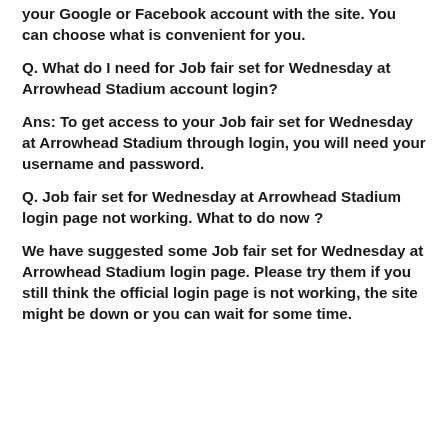your Google or Facebook account with the site. You can choose what is convenient for you.
Q. What do I need for Job fair set for Wednesday at Arrowhead Stadium account login?
Ans: To get access to your Job fair set for Wednesday at Arrowhead Stadium through login, you will need your username and password.
Q. Job fair set for Wednesday at Arrowhead Stadium login page not working. What to do now ?
We have suggested some Job fair set for Wednesday at Arrowhead Stadium login page. Please try them if you still think the official login page is not working, the site might be down or you can wait for some time.